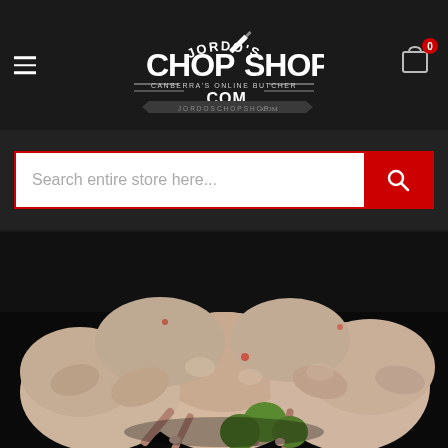[Figure (logo): Jordo's Chop Shop .com logo with tagline Canberra's Online Butcher on dark background]
[Figure (screenshot): Search bar with red border, white input field with placeholder text 'Search entire store here...' and red search button with magnifying glass icon]
[Figure (photo): Close-up photo of multiple raw whole chickens piled together with some green limes/avocados visible, on dark background]